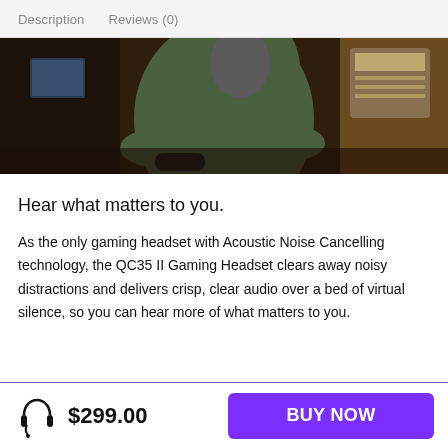Description   Reviews (0)
[Figure (photo): Person in green jacket sitting on a couch playing video games in a dimly lit room]
Hear what matters to you.
As the only gaming headset with Acoustic Noise Cancelling technology, the QC35 II Gaming Headset clears away noisy distractions and delivers crisp, clear audio over a bed of virtual silence, so you can hear more of what matters to you.
$299.00
BUY NOW